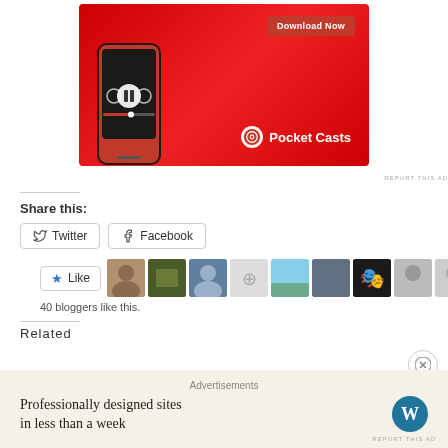[Figure (illustration): Pocket Casts app advertisement showing a smartphone on a red background with 'Download Now' button and Pocket Casts logo]
REPORT THIS AD
Share this:
Twitter  Facebook
Like  [avatar images]  40 bloggers like this.
Related
Advertisements
Professionally designed sites in less than a week
REPORT THIS AD